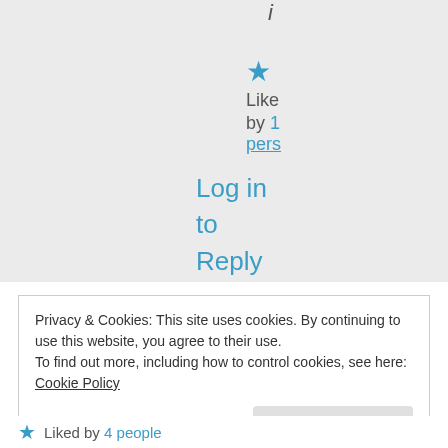i
★ Like by 1 pers
Log in to Reply
Privacy & Cookies: This site uses cookies. By continuing to use this website, you agree to their use. To find out more, including how to control cookies, see here: Cookie Policy
Close and accept
★ Liked by 4 people